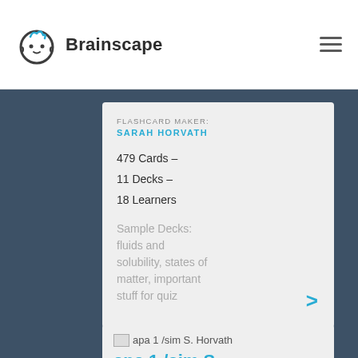Brainscape
FLASHCARD MAKER: SARAH HORVATH
479 Cards –
11 Decks –
18 Learners
Sample Decks: fluids and solubility, states of matter, important stuff for quiz
apa 1 /sim S. Horvath
apa 1 /sim S. Horvath